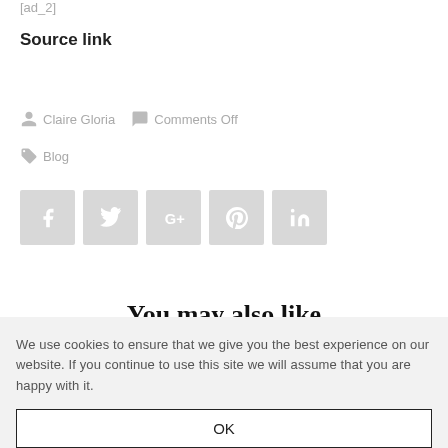[ad_2]
Source link
Claire Gloria   Comments Off
Blog
[Figure (other): Social share buttons: Facebook, Twitter, Google+, Pinterest, LinkedIn]
You may also like
We use cookies to ensure that we give you the best experience on our website. If you continue to use this site we will assume that you are happy with it.
OK